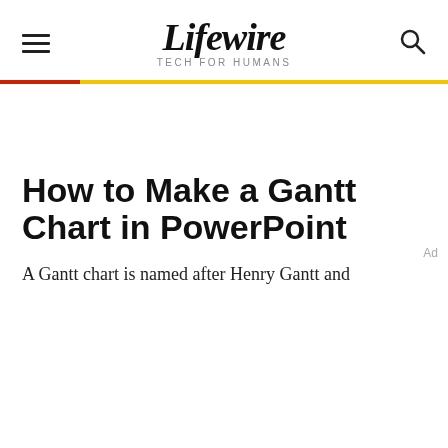Lifewire TECH FOR HUMANS
How to Make a Gantt Chart in PowerPoint
A Gantt chart is named after Henry Gantt and